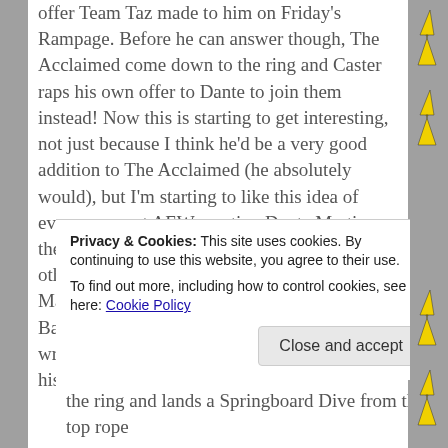offer Team Taz made to him on Friday's Rampage. Before he can answer though, The Acclaimed come down to the ring and Caster raps his own offer to Dante to join them instead!  Now this is starting to get interesting, not just because I think he'd be a very good addition to The Acclaimed (he absolutely would), but I'm starting to like this idea of every group at AEW wanting Dante Martin on their side and having to fight through each other to get him!  I can just picture Dante Martin sitting on a throne or on that Judy Bagwell forklift thing as he looks upon the wrestlers and managers fighting in the ring for his contract!  The Acclaimed
Privacy & Cookies: This site uses cookies. By continuing to use this website, you agree to their use.
To find out more, including how to control cookies, see here: Cookie Policy
the ring and lands a Springboard Dive from the top rope